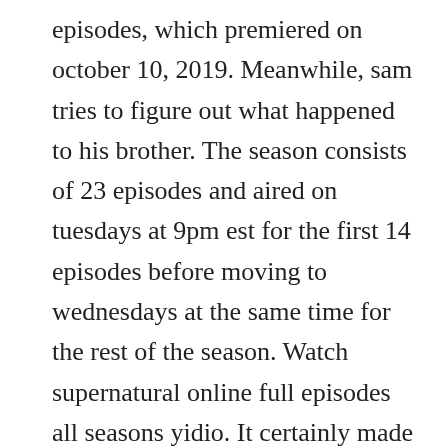episodes, which premiered on october 10, 2019. Meanwhile, sam tries to figure out what happened to his brother. The season consists of 23 episodes and aired on tuesdays at 9pm est for the first 14 episodes before moving to wednesdays at the same time for the rest of the season. Watch supernatural online full episodes all seasons yidio. It certainly made sense just looking at the way season nine ended. This is the third season with jeremy carver as showrunner.
Watch all 23 supernatural episodes from